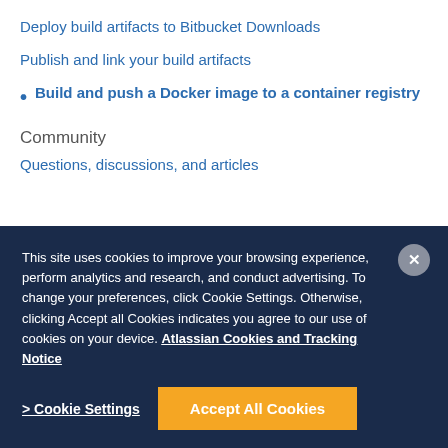Deploy build artifacts to Bitbucket Downloads
Publish and link your build artifacts
Build and push a Docker image to a container registry
Community
Questions, discussions, and articles
This site uses cookies to improve your browsing experience, perform analytics and research, and conduct advertising. To change your preferences, click Cookie Settings. Otherwise, clicking Accept all Cookies indicates you agree to our use of cookies on your device. Atlassian Cookies and Tracking Notice
> Cookie Settings
Accept All Cookies